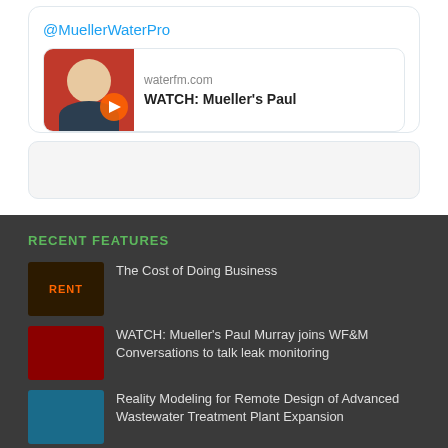@MuellerWaterPro
[Figure (screenshot): Link preview card showing waterfm.com with text 'WATCH: Mueller's Paul' and a thumbnail of a man on red background with play button]
[Figure (screenshot): Empty grey card placeholder]
RECENT FEATURES
The Cost of Doing Business
WATCH: Mueller's Paul Murray joins WF&M Conversations to talk leak monitoring
Reality Modeling for Remote Design of Advanced Wastewater Treatment Plant Expansion
Fitch Ratings: U.S. water utilities withstanding